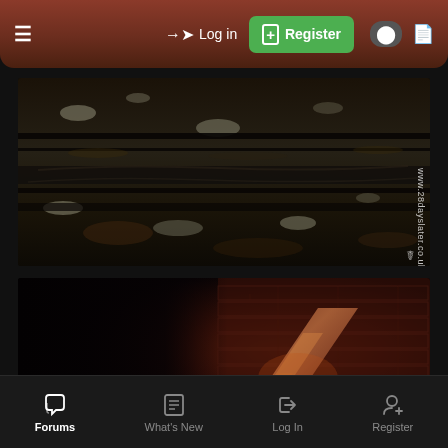≡  → Log in  [+] Register
[Figure (photo): Close-up photograph of dark layered rock/shale with wet glistening surfaces and white mineral deposits. Watermark 'www.28dayslater.co.uk' visible on right side.]
[Figure (photo): Photograph of a dark underground space showing a rusty/metallic structure (possibly a door or gate frame) against red brick wall in background. Very dark image with orange/rust tones.]
Forums  What's New  Log In  Register